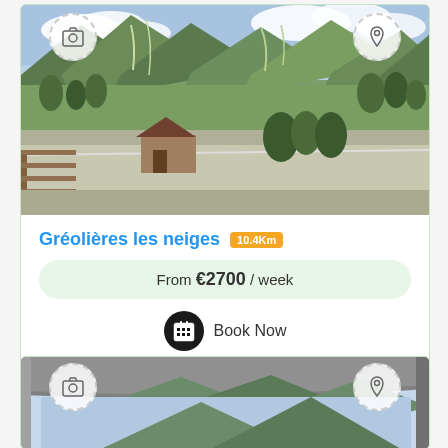[Figure (photo): Mountain landscape with ski slopes and green meadows, taken from a balcony]
Gréolières les neiges 10.4Km
From €2700 / week
Book Now
[Figure (photo): Partial view of a mountain seen through a covered terrace or overhang]